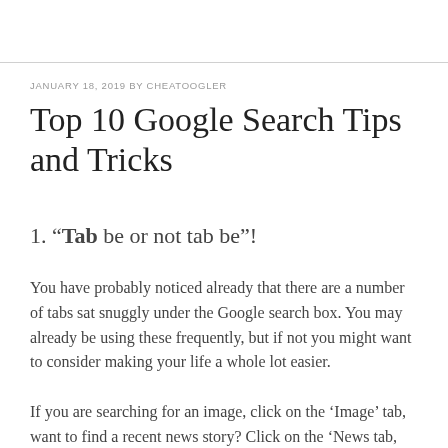JANUARY 18, 2019 BY CHEATOOGLER
Top 10 Google Search Tips and Tricks
1. “Tab be or not tab be”!
You have probably noticed already that there are a number of tabs sat snuggly under the Google search box. You may already be using these frequently, but if not you might want to consider making your life a whole lot easier.
If you are searching for an image, click on the ‘Image’ tab, want to find a recent news story? Click on the ‘News tab, you got the idea. Using these combined with some